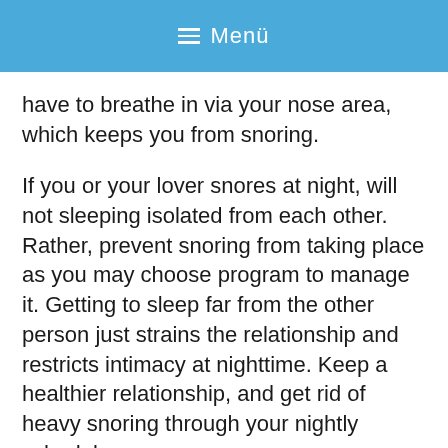≡ Menü
have to breathe in via your nose area, which keeps you from snoring.
If you or your lover snores at night, will not sleeping isolated from each other. Rather, prevent snoring from taking place as you may choose program to manage it. Getting to sleep far from the other person just strains the relationship and restricts intimacy at nighttime. Keep a healthier relationship, and get rid of heavy snoring through your nightly schedule.
In case you are pregnant and recognize you are creating a heavy snoring issue, be sure